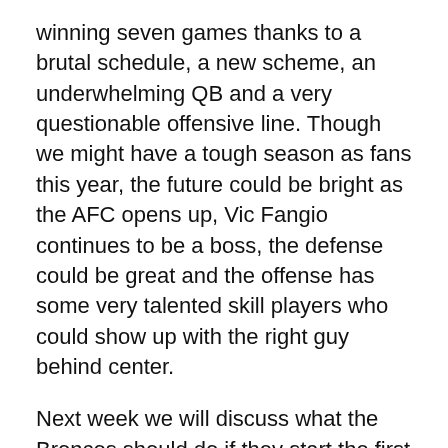winning seven games thanks to a brutal schedule, a new scheme, an underwhelming QB and a very questionable offensive line. Though we might have a tough season as fans this year, the future could be bright as the AFC opens up, Vic Fangio continues to be a boss, the defense could be great and the offense has some very talented skill players who could show up with the right guy behind center.
Next week we will discuss what the Broncos should do if they start the first eight games in 2019 with a record below .500 and why we should look at what is happening in Miami and try to do exactly the opposite of everything the Dolphins do.
MHR Radio is now on ApplePodcasts, Google Play, iHeartRadio, Spotify, Stitcher, TuneIn and anywhere else you get your podcasts. Please subscribe to the one that fits your fancy, and also rate and review